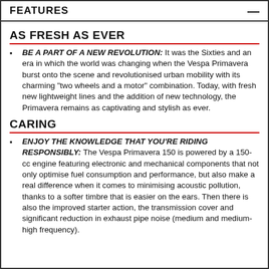FEATURES
AS FRESH AS EVER
BE A PART OF A NEW REVOLUTION: It was the Sixties and an era in which the world was changing when the Vespa Primavera burst onto the scene and revolutionised urban mobility with its charming "two wheels and a motor" combination. Today, with fresh new lightweight lines and the addition of new technology, the Primavera remains as captivating and stylish as ever.
CARING
ENJOY THE KNOWLEDGE THAT YOU'RE RIDING RESPONSIBLY: The Vespa Primavera 150 is powered by a 150-cc engine featuring electronic and mechanical components that not only optimise fuel consumption and performance, but also make a real difference when it comes to minimising acoustic pollution, thanks to a softer timbre that is easier on the ears. Then there is also the improved starter action, the transmission cover and significant reduction in exhaust pipe noise (medium and medium-high frequency).